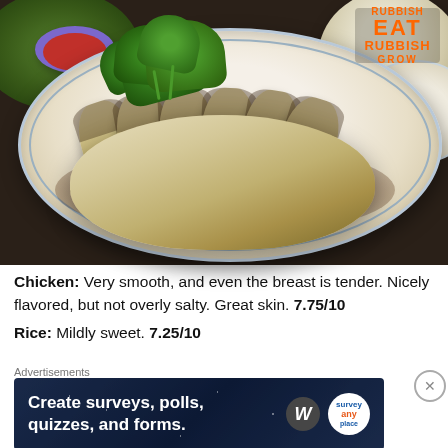[Figure (photo): Hainanese chicken rice dish: sliced poached chicken topped with fresh green herbs (cilantro/coriander) on a white plate with blue floral rim, served with dark soy sauce. Background shows rice mound and small bowl of chili sauce. Logo 'RUBBISH EAT RUBBISH GROW' in orange text in top-right corner.]
Chicken: Very smooth, and even the breast is tender. Nicely flavored, but not overly salty. Great skin. 7.75/10
Rice: Mildly sweet. 7.25/10
Advertisements
[Figure (screenshot): Advertisement banner: dark blue background with white stars, white bold text reading 'Create surveys, polls, quizzes, and forms.' with WordPress logo and Survey Anyplace logo on right side.]